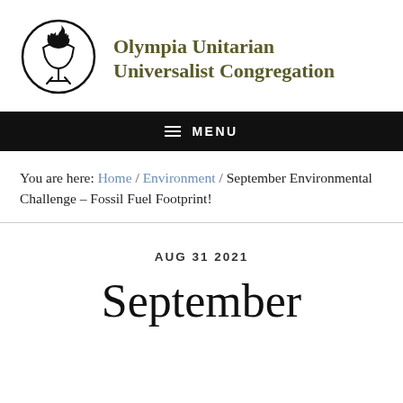[Figure (logo): Olympia Unitarian Universalist Congregation logo: a chalice with flame inside a hand-drawn circle]
Olympia Unitarian Universalist Congregation
MENU
You are here: Home / Environment / September Environmental Challenge – Fossil Fuel Footprint!
AUG 31 2021
September